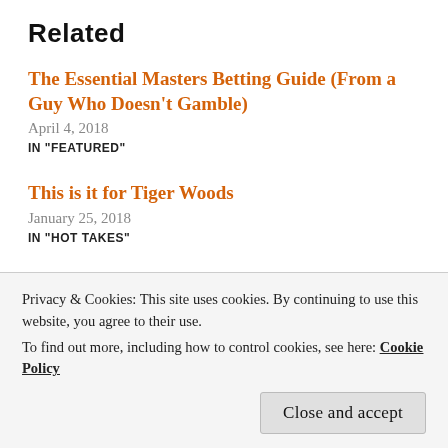Related
The Essential Masters Betting Guide (From a Guy Who Doesn't Gamble)
April 4, 2018
IN "FEATURED"
This is it for Tiger Woods
January 25, 2018
IN "HOT TAKES"
I genuinely feel bad for Tiger Woods
Privacy & Cookies: This site uses cookies. By continuing to use this website, you agree to their use.
To find out more, including how to control cookies, see here: Cookie Policy
Close and accept